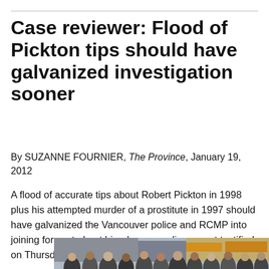Case reviewer: Flood of Pickton tips should have galvanized investigation sooner
By SUZANNE FOURNIER, The Province, January 19, 2012
A flood of accurate tips about Robert Pickton in 1998 plus his attempted murder of a prostitute in 1997 should have galvanized the Vancouver police and RCMP into joining forces to hunt him down, a police expert testified on Thursday.
[Figure (photo): Crowd of people on a street, storefronts visible in background]